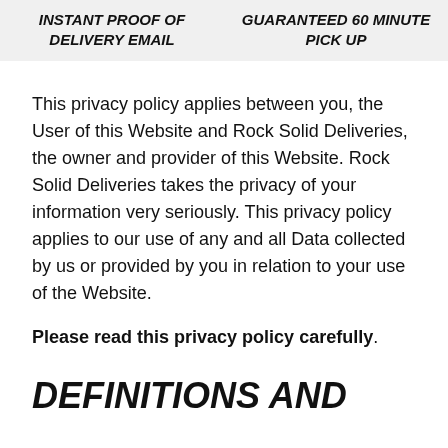INSTANT PROOF OF DELIVERY EMAIL   GUARANTEED 60 MINUTE PICK UP
This privacy policy applies between you, the User of this Website and Rock Solid Deliveries, the owner and provider of this Website. Rock Solid Deliveries takes the privacy of your information very seriously. This privacy policy applies to our use of any and all Data collected by us or provided by you in relation to your use of the Website.
Please read this privacy policy carefully.
DEFINITIONS AND